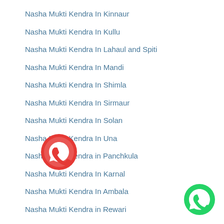Nasha Mukti Kendra In Kinnaur
Nasha Mukti Kendra In Kullu
Nasha Mukti Kendra In Lahaul and Spiti
Nasha Mukti Kendra In Mandi
Nasha Mukti Kendra In Shimla
Nasha Mukti Kendra In Sirmaur
Nasha Mukti Kendra In Solan
Nasha Mukti Kendra In Una
Nasha Mukti Kendra in Panchkula
Nasha Mukti Kendra In Karnal
Nasha Mukti Kendra In Ambala
Nasha Mukti Kendra in Rewari
Nasha Mukti Kendra In Hissar
[Figure (logo): Red circular WhatsApp-style phone icon button]
[Figure (logo): Green circular WhatsApp icon button]